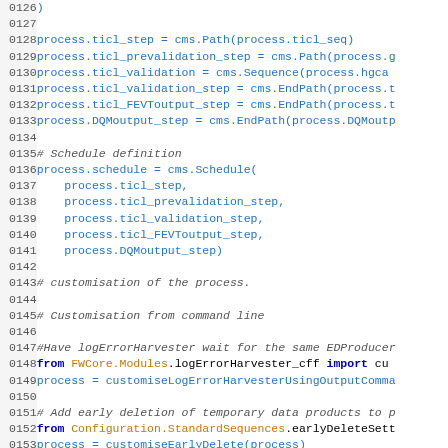[Figure (screenshot): Source code listing lines 0126-0154 showing Python/CMS configuration script with line numbers, comments, and code in blue and orange colors on white background]